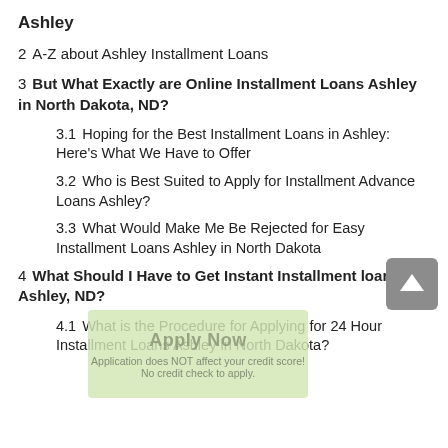Ashley
2  A-Z about Ashley Installment Loans
3  But What Exactly are Online Installment Loans Ashley in North Dakota, ND?
3.1  Hoping for the Best Installment Loans in Ashley: Here's What We Have to Offer
3.2  Who is Best Suited to Apply for Installment Advance Loans Ashley?
3.3  What Would Make Me Be Rejected for Easy Installment Loans Ashley in North Dakota
4  What Should I Have to Get Instant Installment loans Ashley, ND?
4.1  What is the Procedure for Applying for 24 Hour Installment Loans Ashley in North Dakota?